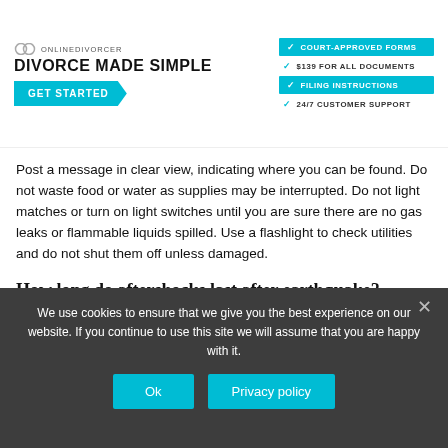[Figure (screenshot): OnlineDivorcer advertisement banner: logo with two overlapping rings icon and text ONLINEDIVORCER, headline DIVORCE MADE SIMPLE, GET STARTED button in teal, and right-side list: COURT-APPROVED FORMS (teal button), $139 FOR ALL DOCUMENTS, FILING INSTRUCTIONS (teal button), 24/7 CUSTOMER SUPPORT]
Post a message in clear view, indicating where you can be found. Do not waste food or water as supplies may be interrupted. Do not light matches or turn on light switches until you are sure there are no gas leaks or flammable liquids spilled. Use a flashlight to check utilities and do not shut them off unless damaged.
How long do aftershocks last after earthquake?
Aftershocks are earthquakes that follow the largest shock
We use cookies to ensure that we give you the best experience on our website. If you continue to use this site we will assume that you are happy with it.